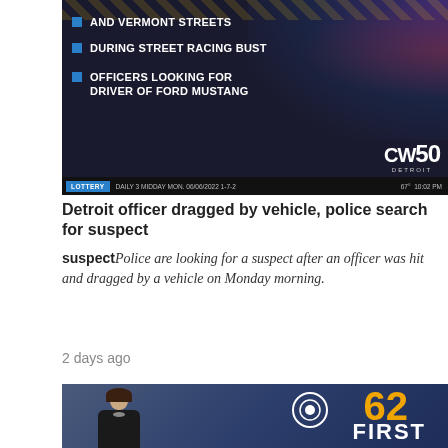[Figure (screenshot): CW50 Detroit news broadcast screenshot showing text overlays: 'AND VERMONT STREETS', 'DURING STREET RACING BUST', 'OFFICERS LOOKING FOR DRIVER OF FORD MUSTANG' with CW50 Detroit logo and news ticker]
Detroit officer dragged by vehicle, police search for suspect
Police are looking for a suspect after an officer was hit and dragged by a vehicle on Monday morning.
2 days ago
[Figure (screenshot): CBS 62 First news broadcast screenshot showing female anchor standing in front of CBS 62 FIRST logo]